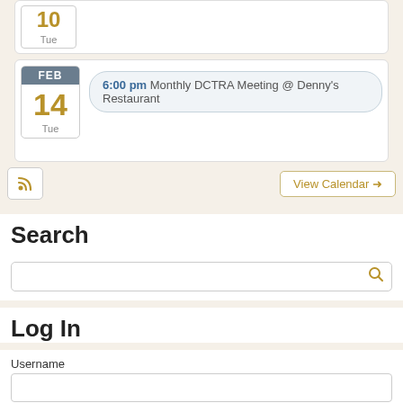[Figure (screenshot): Partially visible calendar date icon showing day number and 'Tue' label at the top of the page]
6:00 pm Monthly DCTRA Meeting @ Denny's Restaurant
FEB 14 Tue
View Calendar →
Search
Log In
Username
Password
Remember Me
Log In